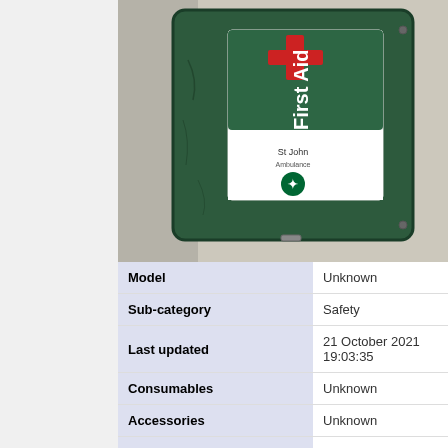[Figure (photo): A green St John First Aid box/kit mounted on a wall. The box is worn with scratches and has a white label with a red cross and 'First Aid' text and the St John Ambulance logo on it.]
| Field | Value |
| --- | --- |
| Model | Unknown |
| Sub-category | Safety |
| Last updated | 21 October 2021 19:03:35 |
| Consumables | Unknown |
| Accessories | Unknown |
| Training link | Unknown |
| ACnode | No |
| Owner | Unknown |